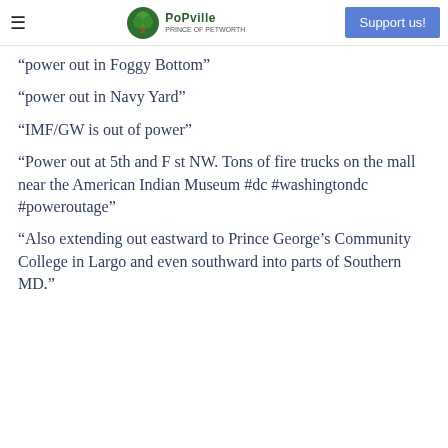PoPville — Support us!
“power out in Foggy Bottom”
“power out in Navy Yard”
“IMF/GW is out of power”
“Power out at 5th and F st NW. Tons of fire trucks on the mall near the American Indian Museum #dc #washingtondc #poweroutage”
“Also extending out eastward to Prince George’s Community College in Largo and even southward into parts of Southern MD.”